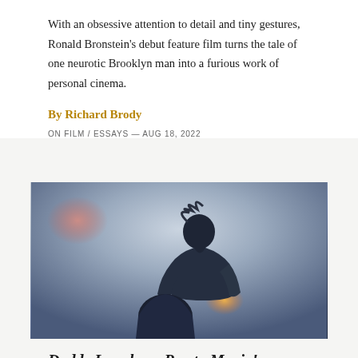With an obsessive attention to detail and tiny gestures, Ronald Bronstein's debut feature film turns the tale of one neurotic Brooklyn man into a furious work of personal cinema.
By Richard Brody
ON FILM / ESSAYS — AUG 18, 2022
[Figure (photo): Film still showing two figures in silhouette against a hazy sky background. One figure is taller, looking to the side in profile with tousled hair; a second figure is partially visible below. There are lens flares — a pinkish-red one on the upper left and an orange-gold one on the lower right.]
Daddy Longlegs: Presto Magic!